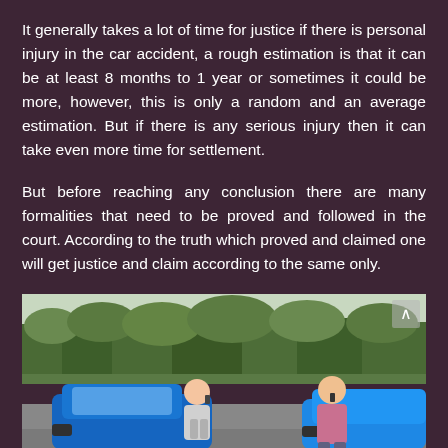It generally takes a lot of time for justice if there is personal injury in the car accident, a rough estimation is that it can be at least 8 months to 1 year or sometimes it could be more, however, this is only a random and an average estimation. But if there is any serious injury then it can take even more time for settlement.
But before reaching any conclusion there are many formalities that need to be proved and followed in the court. According to the truth which proved and claimed one will get justice and claim according to the same only.
[Figure (photo): Two men standing near blue cars after a road accident, both talking on mobile phones. Trees and a road visible in the background. Outdoor daylight scene.]